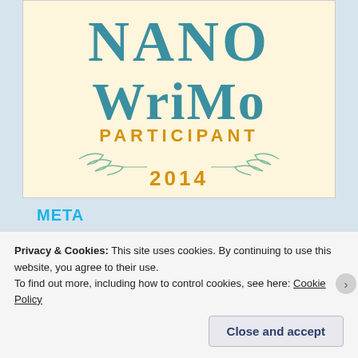[Figure (logo): NaNoWriMo Participant 2014 badge on cream background with teal stylized text and gold PARTICIPANT and 2014 labels, with decorative laurel branches]
META
Register
Privacy & Cookies: This site uses cookies. By continuing to use this website, you agree to their use.
To find out more, including how to control cookies, see here: Cookie Policy
Close and accept